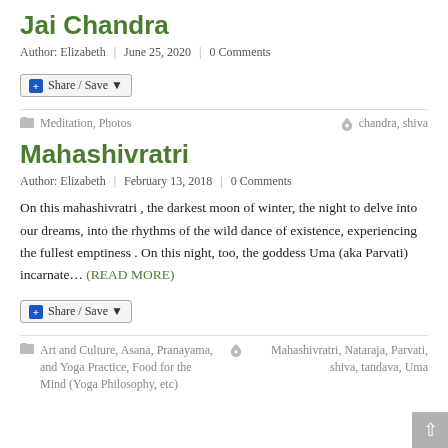Jai Chandra
Author: Elizabeth | June 25, 2020 | 0 Comments
[Figure (other): Share / Save button with plus icon and dropdown arrow]
Meditation, Photos    chandra, shiva
Mahashivratri
Author: Elizabeth | February 13, 2018 | 0 Comments
On this mahashivratri , the darkest moon of winter, the night to delve into our dreams, into the rhythms of the wild dance of existence, experiencing the fullest emptiness . On this night, too, the goddess Uma (aka Parvati) incarnate… (READ MORE)
[Figure (other): Share / Save button with plus icon and dropdown arrow]
Art and Culture, Asana, Pranayama, and Yoga Practice, Food for the Mind (Yoga Philosophy, etc)    Mahashivratri, Nataraja, Parvati, shiva, tandava, Uma